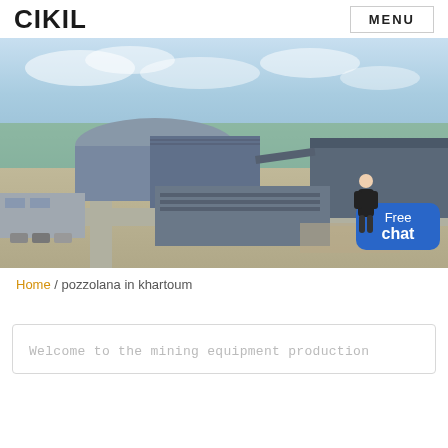CIKIL  MENU
[Figure (photo): Aerial view of a large industrial facility with multiple blue/grey warehouse buildings, construction equipment, green fields and roads visible in background. A 'Free chat' bubble and person illustration overlaid in bottom-right corner.]
Home / pozzolana in khartoum
Welcome to the mining equipment production